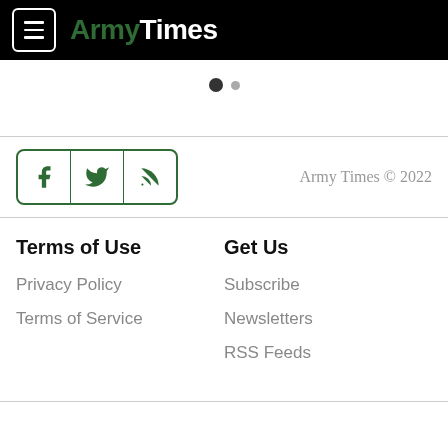ArmyTimes
[Figure (other): Pagination dots: one filled dark circle and one smaller grey circle]
[Figure (other): Social media icons for Facebook, Twitter, and RSS in a bordered rounded rectangle group, with copyright text 'Army Times © 2022' to the right]
Terms of Use
Get Us
Privacy Policy
Subscribe
Terms of Service
Newsletters
RSS Feeds